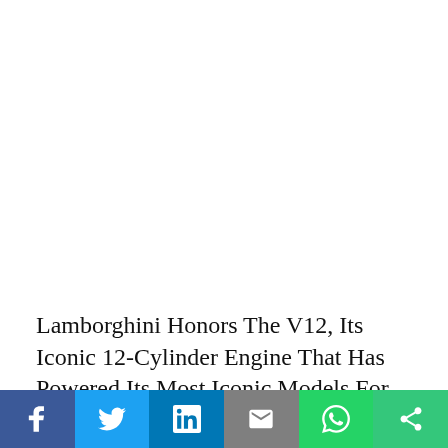[Figure (other): Large white/blank image area at the top of the article page]
Lamborghini Honors The V12, Its Iconic 12-Cylinder Engine That Has Powered Its Most Iconic Models For Almost Six Decades